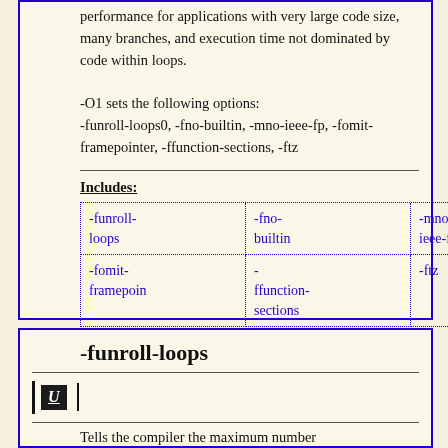performance for applications with very large code size, many branches, and execution time not dominated by code within loops.
-O1 sets the following options: -funroll-loops0, -fno-builtin, -mno-ieee-fp, -fomit-framepointer, -ffunction-sections, -ftz
Includes:
| -funroll-loops | -fno-builtin | -mno-ieee-fp |
| -fomit-framepoin | -ffunction-sections | -ftz |
-funroll-loops
[Figure (other): U icon (bold italic U in black box with pipe characters on sides)]
Tells the compiler the maximum number